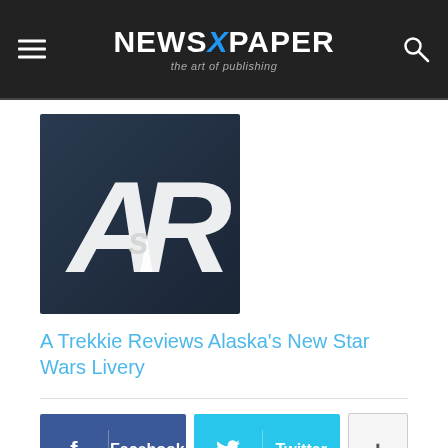NEWSXPAPER — the art of publishing
[Figure (logo): Author or publication logo: stylized letters AR on dark blue-grey background]
A Trekkie Reviews Alaska's New Star Wars Livery
Facebook Twitter + social share buttons